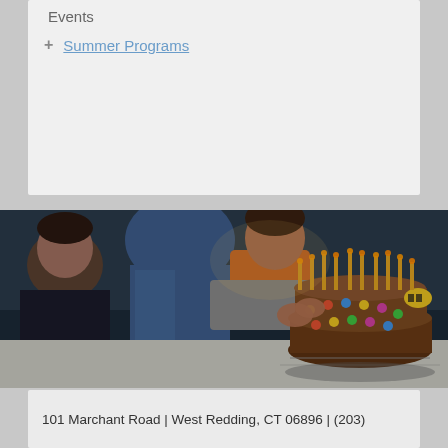Events
+ Summer Programs
[Figure (photo): Children at a birthday party; a child in an orange shirt blows out candles on a chocolate birthday cake decorated with colorful candies and a bee figurine. Another child watches from the left. A person in a blue jacket stands in the background.]
101 Marchant Road | West Redding, CT 06896 | (203)